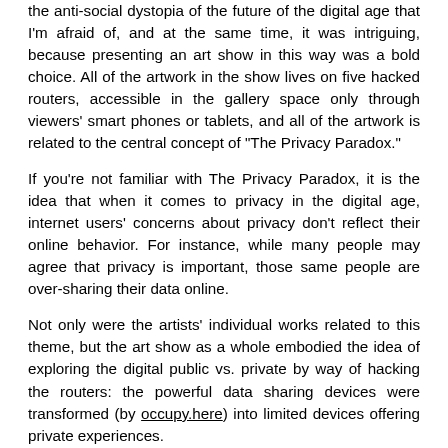the anti-social dystopia of the future of the digital age that I'm afraid of, and at the same time, it was intriguing, because presenting an art show in this way was a bold choice. All of the artwork in the show lives on five hacked routers, accessible in the gallery space only through viewers' smart phones or tablets, and all of the artwork is related to the central concept of “The Privacy Paradox.”
If you’re not familiar with The Privacy Paradox, it is the idea that when it comes to privacy in the digital age, internet users’ concerns about privacy don’t reflect their online behavior. For instance, while many people may agree that privacy is important, those same people are over-sharing their data online.
Not only were the artists’ individual works related to this theme, but the art show as a whole embodied the idea of exploring the digital public vs. private by way of hacking the routers: the powerful data sharing devices were transformed (by occupy.here) into limited devices offering private experiences.
The way that the show works is that visitors are able